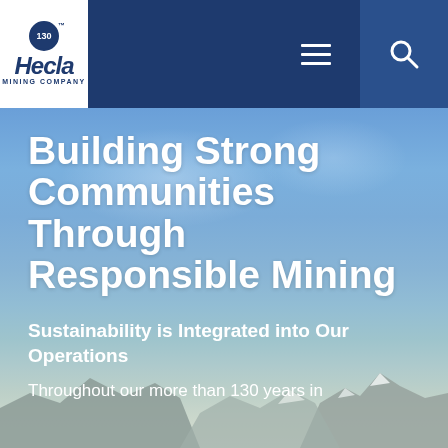[Figure (logo): Hecla Mining Company logo with 130th anniversary badge, white on dark navy blue background]
[Figure (photo): Mountain landscape with blue sky background serving as hero image for Hecla Mining Company website]
Building Strong Communities Through Responsible Mining
Sustainability is Integrated into Our Operations
Throughout our more than 130 years in